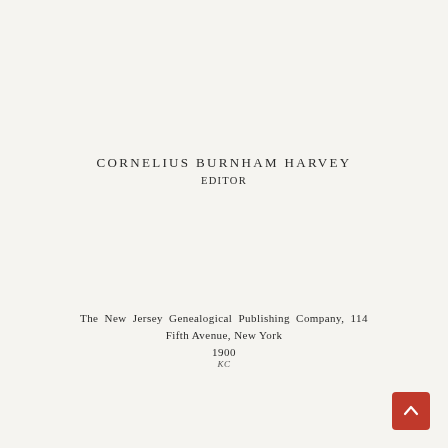CORNELIUS BURNHAM HARVEY EDITOR
The New Jersey Genealogical Publishing Company, 114 Fifth Avenue, New York 1900